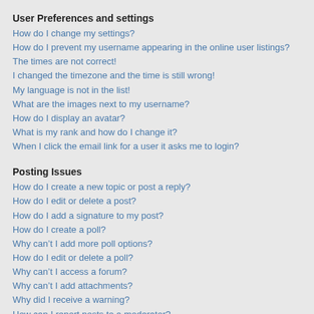User Preferences and settings
How do I change my settings?
How do I prevent my username appearing in the online user listings?
The times are not correct!
I changed the timezone and the time is still wrong!
My language is not in the list!
What are the images next to my username?
How do I display an avatar?
What is my rank and how do I change it?
When I click the email link for a user it asks me to login?
Posting Issues
How do I create a new topic or post a reply?
How do I edit or delete a post?
How do I add a signature to my post?
How do I create a poll?
Why can’t I add more poll options?
How do I edit or delete a poll?
Why can’t I access a forum?
Why can’t I add attachments?
Why did I receive a warning?
How can I report posts to a moderator?
What is the “Save” button for in topic posting?
Why does my post need to be approved?
How do I bump my topic?
Formatting and Topic Types
What is BBCode?